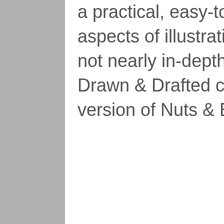a practical, easy-to-read guide to the business aspects of illustration, but it's way too short and not nearly in-depth enough. I'm hoping that Drawn & Drafted can be like a more thorough version of Nuts & Bolts.
REPLY
Keith Parker on May 1, 2014 at 5:10 pm
Lauren, I've been to planning to take all your MC posts and print then